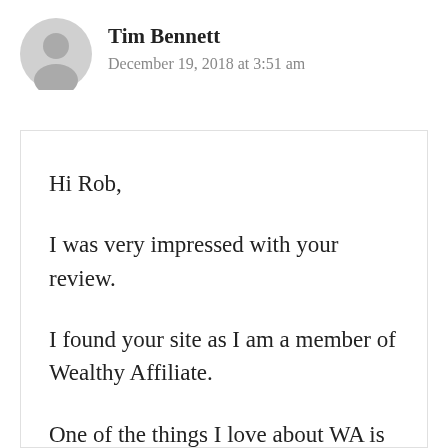Tim Bennett
December 19, 2018 at 3:51 am
Hi Rob,

I was very impressed with your review.

I found your site as I am a member of Wealthy Affiliate.

One of the things I love about WA is that as we move around on the other